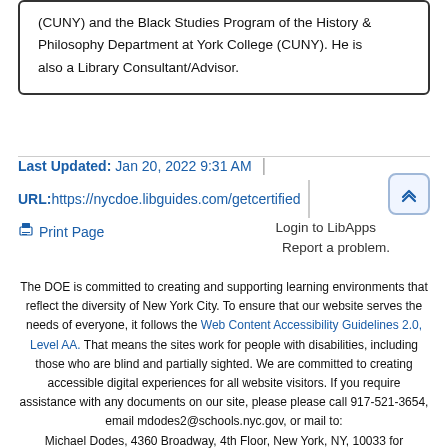(CUNY) and the Black Studies Program of the History & Philosophy Department at York College (CUNY). He is also a Library Consultant/Advisor.
Last Updated: Jan 20, 2022 9:31 AM | URL: https://nycdoe.libguides.com/getcertified
🖨 Print Page
Login to LibApps
Report a problem.
The DOE is committed to creating and supporting learning environments that reflect the diversity of New York City. To ensure that our website serves the needs of everyone, it follows the Web Content Accessibility Guidelines 2.0, Level AA. That means the sites work for people with disabilities, including those who are blind and partially sighted. We are committed to creating accessible digital experiences for all website visitors. If you require assistance with any documents on our site, please please call 917-521-3654, email mdodes2@schools.nyc.gov, or mail to: Michael Dodes, 4360 Broadway, 4th Floor, New York, NY, 10033 for assistance.